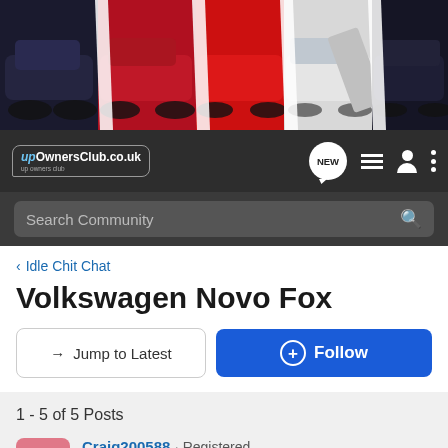[Figure (photo): Banner with four Volkswagen cars in a collage: black VW, red VW GTI, red VW, white VW with open door, dark VW — diagonal dividers between panels]
[Figure (screenshot): Navigation bar with upOwnersClub.co.uk logo, NEW chat badge, list icon, user icon, and vertical dots menu]
[Figure (screenshot): Dark search bar with 'Search Community' placeholder text and a magnifier icon]
< Idle Chit Chat
Volkswagen Novo Fox
→ Jump to Latest
+ Follow
1 - 5 of 5 Posts
Craig200588 · Registered
Joined Feb 2, 2012 · 677 Posts